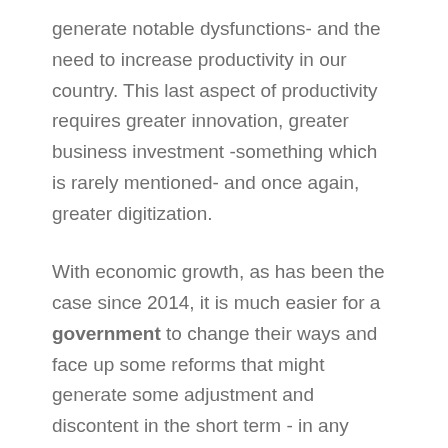generate notable dysfunctions- and the need to increase productivity in our country. This last aspect of productivity requires greater innovation, greater business investment -something which is rarely mentioned- and once again, greater digitization.
With economic growth, as has been the case since 2014, it is much easier for a government to change their ways and face up some reforms that might generate some adjustment and discontent in the short term - in any case, bearable because the economy is on the rise, sow the seeds of much more significant long-term benefits, which will also be sustainable. This has not happened in recent governments or in the proposals of virtually all political parties. Even